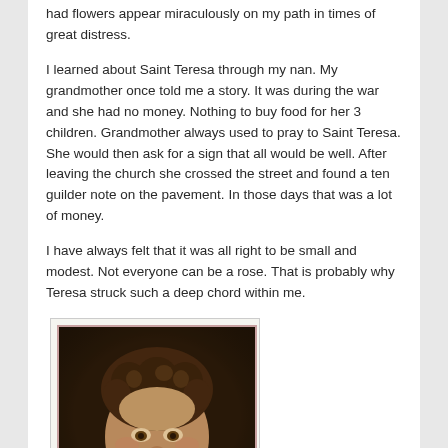had flowers appear miraculously on my path in times of great distress.
I learned about Saint Teresa through my nan. My grandmother once told me a story. It was during the war and she had no money. Nothing to buy food for her 3 children. Grandmother always used to pray to Saint Teresa. She would then ask for a sign that all would be well. After leaving the church she crossed the street and found a ten guilder note on the pavement. In those days that was a lot of money.
I have always felt that it was all right to be small and modest. Not everyone can be a rose. That is probably why Teresa struck such a deep chord within me.
[Figure (photo): A sepia-toned portrait photograph showing the face and upper body of a young person, likely Saint Teresa as a young woman, with curly hair and a gentle expression. The photo is inside a pink/red bordered frame on a light background card.]